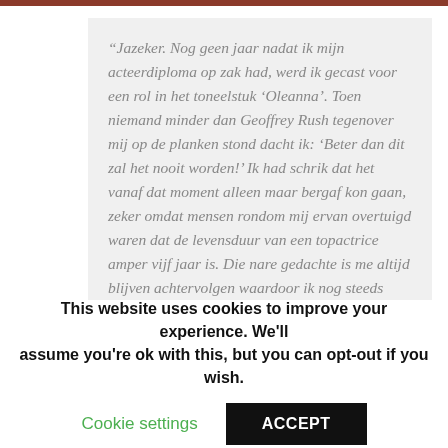“Jazeker. Nog geen jaar nadat ik mijn acteerdiploma op zak had, werd ik gecast voor een rol in het toneelstuk ‘Oleanna’. Toen niemand minder dan Geoffrey Rush tegenover mij op de planken stond dacht ik: ‘Beter dan dit zal het nooit worden!’ Ik had schrik dat het vanaf dat moment alleen maar bergaf kon gaan, zeker omdat mensen rondom mij ervan overtuigd waren dat de levensduur van een topactrice amper vijf jaar is. Die nare gedachte is me altijd blijven achtervolgen waardoor ik nog steeds elke rol aanschouw alsof het mijn...
This website uses cookies to improve your experience. We'll assume you're ok with this, but you can opt-out if you wish.
Cookie settings
ACCEPT